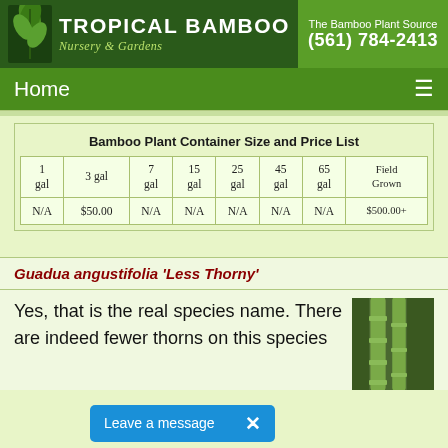TROPICAL BAMBOO Nursery & Gardens | The Bamboo Plant Source (561) 784-2413
Home
| 1 gal | 3 gal | 7 gal | 15 gal | 25 gal | 45 gal | 65 gal | Field Grown |
| --- | --- | --- | --- | --- | --- | --- | --- |
| N/A | $50.00 | N/A | N/A | N/A | N/A | N/A | $500.00+ |
Guadua angustifolia 'Less Thorny'
Yes, that is the real species name. There are indeed fewer thorns on this species
[Figure (photo): Photo of bamboo plant stems - green bamboo culms closeup]